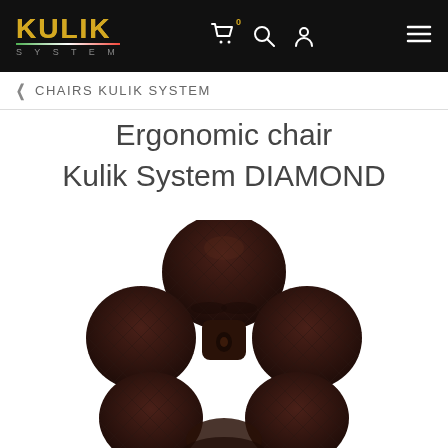KULIK SYSTEM — navigation bar with cart, search, user, and menu icons
< CHAIRS KULIK SYSTEM
Ergonomic chair Kulik System DIAMOND
[Figure (photo): Top-down view of a dark brown diamond-quilted ergonomic chair (Kulik System DIAMOND), showing the headrest, shoulder wings, lumbar support wings, and upper seat — all upholstered in dark chocolate leather with a geometric diamond stitching pattern.]